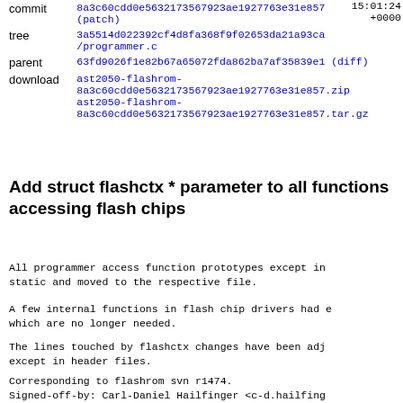15:01:24 +0000
| commit | 8a3c60cdd0e5632173567923ae1927763e31e857 (patch) |
| tree | 3a5514d022392cf4d8fa368f9f02653da21a93ca /programmer.c |
| parent | 63fd9026f1e82b67a65072fda862ba7af35839e1 (diff) |
| download | ast2050-flashrom-8a3c60cdd0e5632173567923ae1927763e31e857.zip
ast2050-flashrom-8a3c60cdd0e5632173567923ae1927763e31e857.tar.gz |
Add struct flashctx * parameter to all functions accessing flash chips
All programmer access function prototypes except in.. static and moved to the respective file.
A few internal functions in flash chip drivers had e.. which are no longer needed.
The lines touched by flashctx changes have been adj.. except in header files.
Corresponding to flashrom svn r1474.
Signed-off-by: Carl-Daniel Hailfinger <c-d.hailfing...
Acked-by: Michael Karcher <flashrom@mkarcher.dialup...